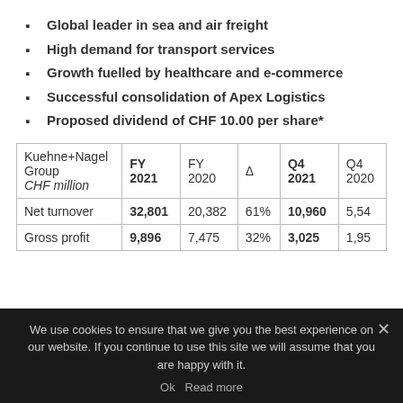Global leader in sea and air freight
High demand for transport services
Growth fuelled by healthcare and e-commerce
Successful consolidation of Apex Logistics
Proposed dividend of CHF 10.00 per share*
| Kuehne+Nagel Group CHF million | FY 2021 | FY 2020 | Δ | Q4 2021 | Q4 2020 |
| --- | --- | --- | --- | --- | --- |
| Net turnover | 32,801 | 20,382 | 61% | 10,960 | 5,54 |
| Gross profit | 9,896 | 7,475 | 32% | 3,025 | 1,95 |
We use cookies to ensure that we give you the best experience on our website. If you continue to use this site we will assume that you are happy with it.